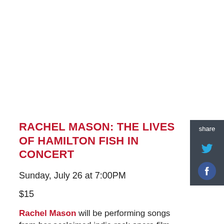[Figure (screenshot): Share sidebar with Twitter and Facebook icons on dark background]
RACHEL MASON: THE LIVES OF HAMILTON FISH IN CONCERT
Sunday, July 26 at 7:00PM
$15
Rachel Mason will be performing songs from her acclaimed indie rock opera film, The Lives of Hamilton Fish. Described by the New Yorker as a